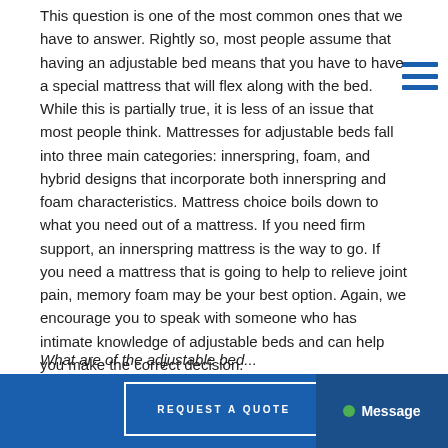This question is one of the most common ones that we have to answer. Rightly so, most people assume that having an adjustable bed means that you have to have a special mattress that will flex along with the bed. While this is partially true, it is less of an issue that most people think. Mattresses for adjustable beds fall into three main categories: innerspring, foam, and hybrid designs that incorporate both innerspring and foam characteristics. Mattress choice boils down to what you need out of a mattress. If you need firm support, an innerspring mattress is the way to go. If you need a mattress that is going to help to relieve joint pain, memory foam may be your best option. Again, we encourage you to speak with someone who has intimate knowledge of adjustable beds and can help you make the correct decision.
[Figure (other): Hamburger menu icon (three horizontal blue lines) in the upper right area]
What are of the adjustable bed...
REQUEST A QUOTE
Message